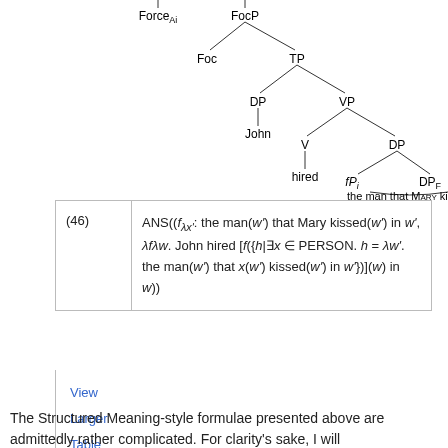[Figure (other): Syntactic tree diagram showing Force_Ai, FocP, Foc, TP, DP (John), VP, V (hired), DP, fP_i, DP_F (the man that MARY kissed)]
View
Larger
Table
The Structured Meaning-style formulae presented above are admittedly rather complicated. For clarity's sake, I will